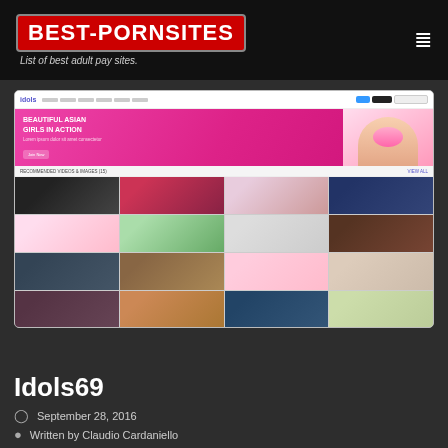BEST-PORNSITES — List of best adult pay sites.
[Figure (screenshot): Screenshot of Idols69 adult website showing pink banner with Asian model and grid of 16 video thumbnails]
Idols69
September 28, 2016
Written by Claudio Cardaniello